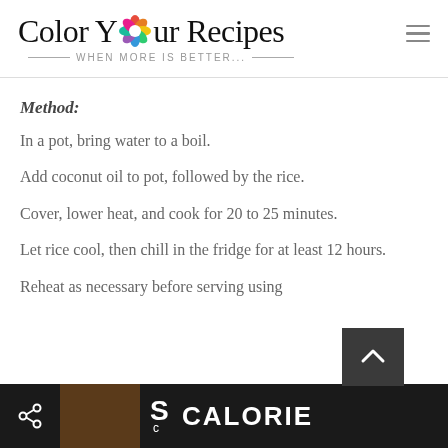Color Your Recipes — When More Is Better...
Method:
In a pot, bring water to a boil.
Add coconut oil to pot, followed by the rice.
Cover, lower heat, and cook for 20 to 25 minutes.
Let rice cool, then chill in the fridge for at least 12 hours.
Reheat as necessary before serving using
CALORIE